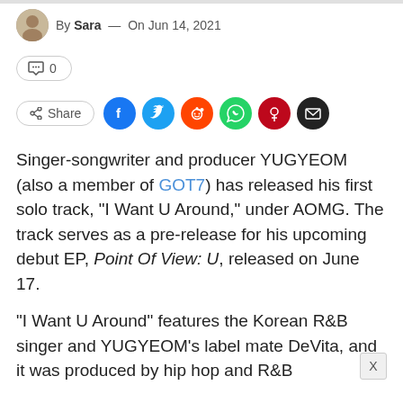By Sara — On Jun 14, 2021
0 (comment count)
Share (with social icons: Facebook, Twitter, Reddit, WhatsApp, Pinterest, Email)
Singer-songwriter and producer YUGYEOM (also a member of GOT7) has released his first solo track, “I Want U Around,” under AOMG. The track serves as a pre-release for his upcoming debut EP, Point Of View: U, released on June 17.
“I Want U Around” features the Korean R&B singer and YUGYEOM’s label mate DeVita, and it was produced by hip hop and R&B